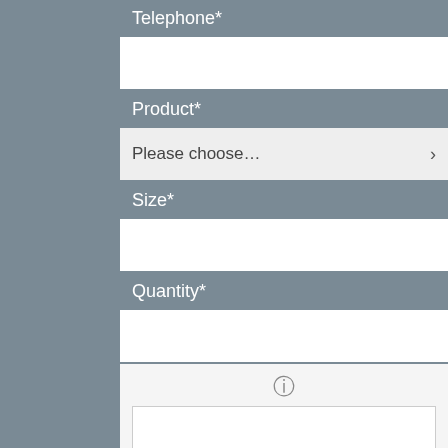Telephone*
Product*
Please choose...
Size*
Quantity*
Notes